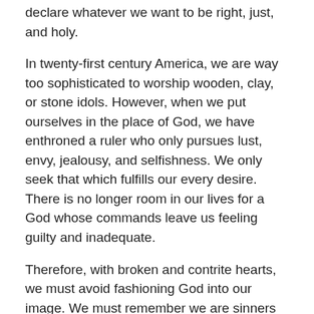declare whatever we want to be right, just, and holy.
In twenty-first century America, we are way too sophisticated to worship wooden, clay, or stone idols. However, when we put ourselves in the place of God, we have enthroned a ruler who only pursues lust, envy, jealousy, and selfishness. We only seek that which fulfills our every desire. There is no longer room in our lives for a God whose commands leave us feeling guilty and inadequate.
Therefore, with broken and contrite hearts, we must avoid fashioning God into our image. We must remember we are sinners before a holy God. The following quote from a Charles Spurgeon sermon in December 1874 puts it this way: